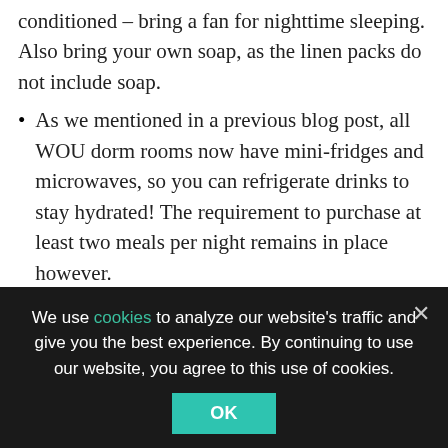conditioned – bring a fan for nighttime sleeping. Also bring your own soap, as the linen packs do not include soap.
As we mentioned in a previous blog post, all WOU dorm rooms now have mini-fridges and microwaves, so you can refrigerate drinks to stay hydrated! The requirement to purchase at least two meals per night remains in place however.
WOU Dining has informed us that Grab & Go bottled drinks and packaged snacks in the retail section of Valsetz will be available on a cash basis between lunch and dinner times according to the schedule shown on the On-Campus Dining webpage. (This schedule does not appear in our Festival Guide
We use cookies to analyze our website's traffic and give you the best experience. By continuing to use our website, you agree to this use of cookies.